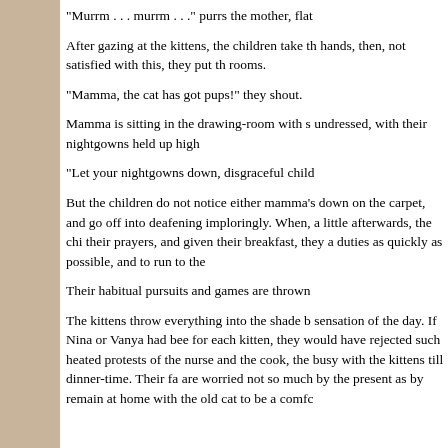"Murrm . . . murrm . . ." purrs the mother, flat
After gazing at the kittens, the children take th hands, then, not satisfied with this, they put th rooms.
"Mamma, the cat has got pups!" they shout.
Mamma is sitting in the drawing-room with s undressed, with their nightgowns held up high
"Let your nightgowns down, disgraceful child
But the children do not notice either mamma's down on the carpet, and go off into deafening imploringly. When, a little afterwards, the chi their prayers, and given their breakfast, they a duties as quickly as possible, and to run to the
Their habitual pursuits and games are thrown
The kittens throw everything into the shade b sensation of the day. If Nina or Vanya had bee for each kitten, they would have rejected such heated protests of the nurse and the cook, the busy with the kittens till dinner-time. Their fa are worried not so much by the present as by remain at home with the old cat to be a comfc